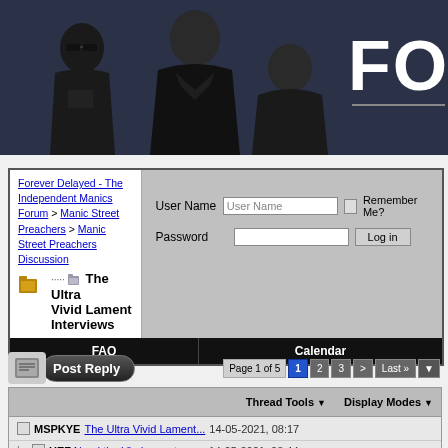[Figure (screenshot): Forum website header with photo of three band members (Manic Street Preachers) against dark blue/navy background, with large 'FOR' text on the right side]
Forever Delayed - The Independent Manics Forum > Manic Street Preachers > Manic Street Preachers Discussion > The Ultra Vivid Lament Interviews
User Name | Password | Remember Me? | Log in
FAQ | Calendar
Post Reply | Page 1 of 5 | 1 | 2 | 3 | > | Last »
Thread Tools | Display Modes
MSPKYE The Ultra Vivid Lament... 14-05-2021, 08:17
UEF Need the Virgin one too...... 14-05-2021, 08:44